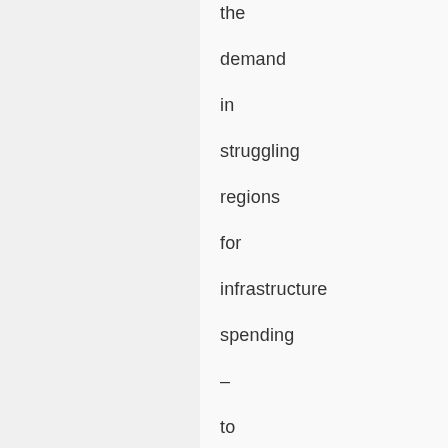the demand in struggling regions for infrastructure spending – to provide clean water, electricity, medical care and other vital needs – will mean the